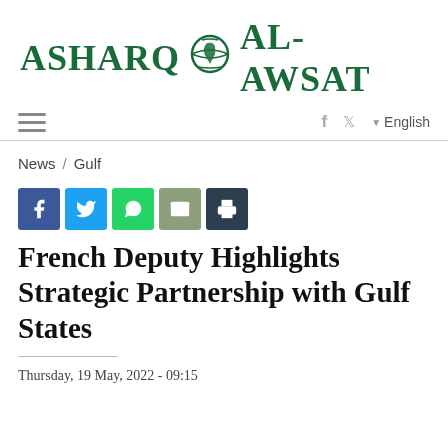ASHARQ AL-AWSAT
News / Gulf
[Figure (other): Social share buttons: Facebook (blue), Twitter (light blue), WhatsApp (green), Email (sage green), Print (dark blue-grey)]
French Deputy Highlights Strategic Partnership with Gulf States
Thursday, 19 May, 2022 - 09:15